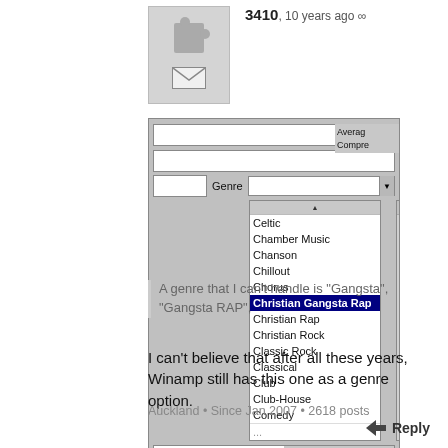3410, 10 years ago ∞
[Figure (screenshot): Screenshot of a music software (Winamp) showing a genre dropdown list open with 'Christian Gangsta Rap' highlighted in dark blue. The dropdown list includes: Celtic, Chamber Music, Chanson, Chillout, Chorus, Christian Gangsta Rap (selected), Christian Rap, Christian Rock, Classic Rock, Classical, Club, Club-House, Comedy]
A genre that I can't handle is “Gangsta”, “Gangsta RAP”,
I can't believe that after all these years, Winamp still has this one as a genre option.
Auckland • Since Jan 2007 • 2618 posts
Reply